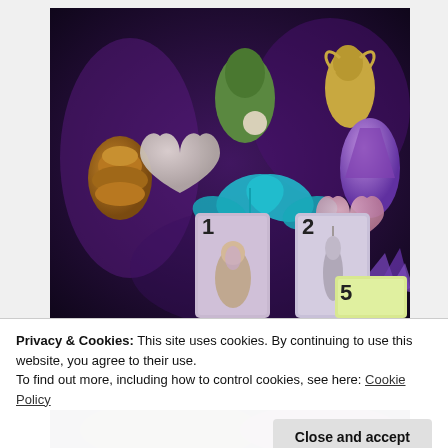[Figure (photo): Photo of tarot/oracle cards laid on dark purple velvet cloth, with crystals, figurines, a pine cone, a white heart stone, and a teal butterfly decoration. Cards numbered 1, 2, and 5 are visible.]
Privacy & Cookies: This site uses cookies. By continuing to use this website, you agree to their use.
To find out more, including how to control cookies, see here: Cookie Policy
Close and accept